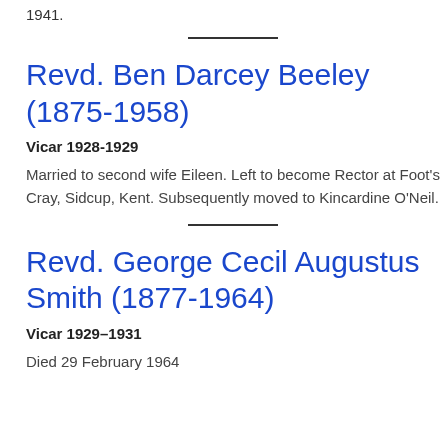1941.
Revd. Ben Darcey Beeley (1875-1958)
Vicar 1928-1929
Married to second wife Eileen. Left to become Rector at Foot's Cray, Sidcup, Kent. Subsequently moved to Kincardine O'Neil.
Revd. George Cecil Augustus Smith (1877-1964)
Vicar 1929–1931
Died 29 February 1964